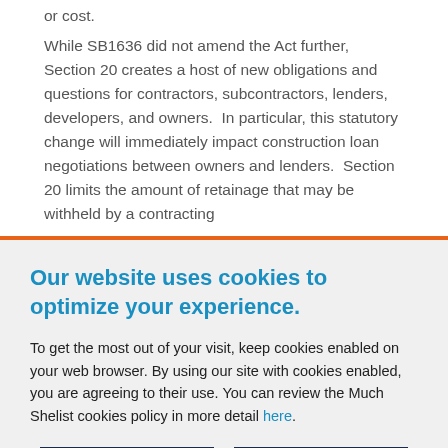or cost.
While SB1636 did not amend the Act further, Section 20 creates a host of new obligations and questions for contractors, subcontractors, lenders, developers, and owners.  In particular, this statutory change will immediately impact construction loan negotiations between owners and lenders.  Section 20 limits the amount of retainage that may be withheld by a contracting
Our website uses cookies to optimize your experience.
To get the most out of your visit, keep cookies enabled on your web browser. By using our site with cookies enabled, you are agreeing to their use. You can review the Much Shelist cookies policy in more detail here.
ACCEPT
DISMISS